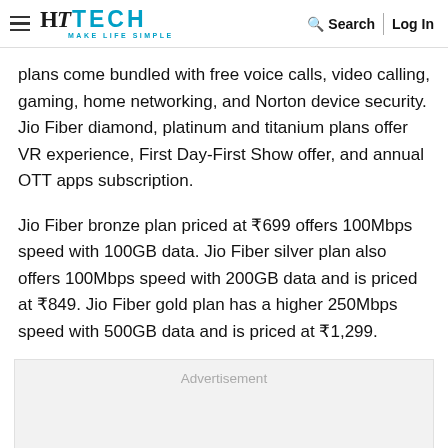HT TECH MAKE LIFE SIMPLE | Search | Log In
plans come bundled with free voice calls, video calling, gaming, home networking, and Norton device security. Jio Fiber diamond, platinum and titanium plans offer VR experience, First Day-First Show offer, and annual OTT apps subscription.
Jio Fiber bronze plan priced at ₹699 offers 100Mbps speed with 100GB data. Jio Fiber silver plan also offers 100Mbps speed with 200GB data and is priced at ₹849. Jio Fiber gold plan has a higher 250Mbps speed with 500GB data and is priced at ₹1,299.
[Figure (other): Advertisement placeholder box]